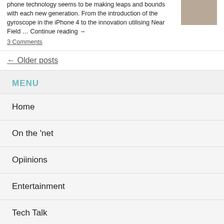phone technology seems to be making leaps and bounds with each new generation. From the introduction of the gyroscope in the iPhone 4 to the innovation utilising Near Field … Continue reading →
3 Comments
← Older posts
MENU
Home
On the 'net
Opiinions
Entertainment
Tech Talk
NBN